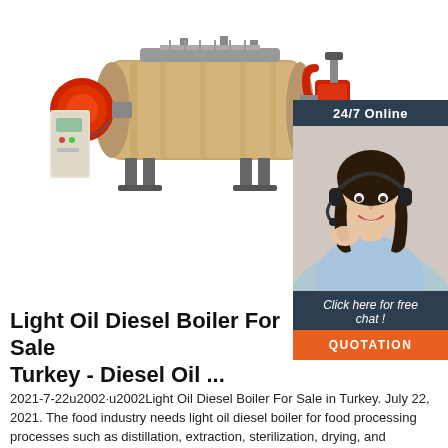[Figure (photo): Industrial light oil diesel boiler machine with red burner on the left, tan cylindrical body, metal frame supports, control panel cabinet, and a separate water pump unit on the right. White background product photo.]
[Figure (photo): 24/7 Online chat support sidebar with dark navy background. Shows a female customer service agent wearing a headset and smiling, with 'Click here for free chat!' text and an orange QUOTATION button below.]
Light Oil Diesel Boiler For Sale Turkey - Diesel Oil ...
2021-7-22u2002·u2002Light Oil Diesel Boiler For Sale in Turkey. July 22, 2021. The food industry needs light oil diesel boiler for food processing processes such as distillation, extraction, sterilization, drying, and maturation, using high-temperature steam for high-temperature cooking, drying, and sterilization of food products.